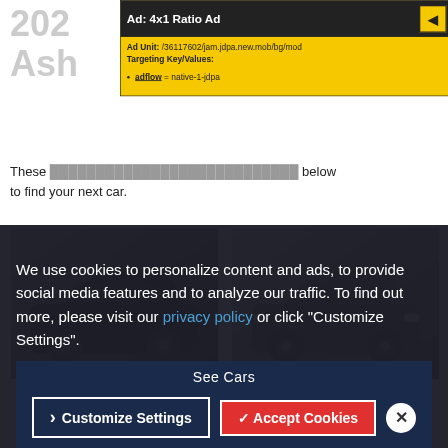2021 Nissan Murano SL Ashburn
These listings match your search. Apply the filters below to find your next car.
[Figure (screenshot): Ad overlay showing 4x1 Ratio Ad debug panel with yellow background. Ad Unit: /36117602/jam.jdpa.new.mob/bg/mod. Targeting Key/Values: adflow = native-1-jdpa]
[Figure (photo): 2021 Nissan Murano SL black SUV car listing card]
[Figure (photo): 2021 Nissan Murano SL grey/silver SUV car listing card]
2021 Nissan Murano SL
2021 Nissan Murano SL
We use cookies to personalize content and ads, to provide social media features and to analyze our traffic. To find out more, please visit our privacy policy or click "Customize Settings".
See Cars
> Customize Settings
✓ Accept Cookies